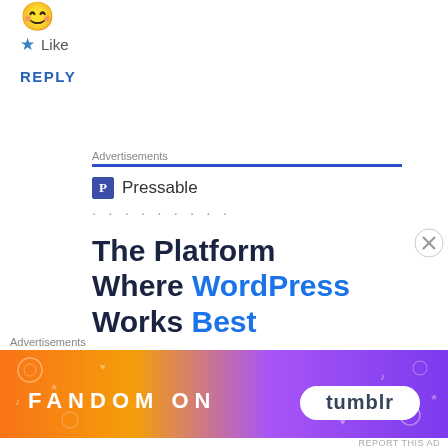[Figure (other): Grinning face with smiling eyes emoji]
★ Like
REPLY
Advertisements
[Figure (logo): Pressable logo with blue P icon and dotted line beneath, followed by ad text: The Platform Where WordPress Works Best]
Advertisements
[Figure (other): Fandom on Tumblr advertisement banner with colorful gradient background]
REPORT THIS AD